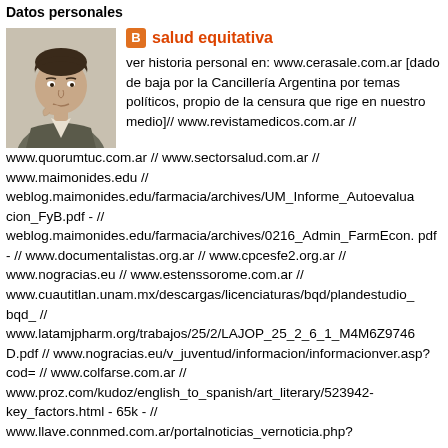Datos personales
[Figure (photo): Profile photo of a man in a suit with hand near chin]
salud equitativa
ver historia personal en: www.cerasale.com.ar [dado de baja por la Cancillería Argentina por temas políticos, propio de la censura que rige en nuestro medio]// www.revistamedicos.com.ar // www.quorumtuc.com.ar // www.sectorsalud.com.ar // www.maimonides.edu // weblog.maimonides.edu/farmacia/archives/UM_Informe_Autoevaluacion_FyB.pdf - // weblog.maimonides.edu/farmacia/archives/0216_Admin_FarmEcon.pdf - // www.documentalistas.org.ar // www.cpcesfe2.org.ar // www.nogracias.eu // www.estenssorome.com.ar // www.cuautitlan.unam.mx/descargas/licenciaturas/bqd/plandestudio_bqd_ // www.latamjpharm.org/trabajos/25/2/LAJOP_25_2_6_1_M4M6Z9746D.pdf // www.nogracias.eu/v_juventud/informacion/informacionver.asp?cod= // www.colfarse.com.ar // www.proz.com/kudoz/english_to_spanish/art_literary/523942-key_factors.html - 65k - // www.llave.connmed.com.ar/portalnoticias_vernoticia.php?